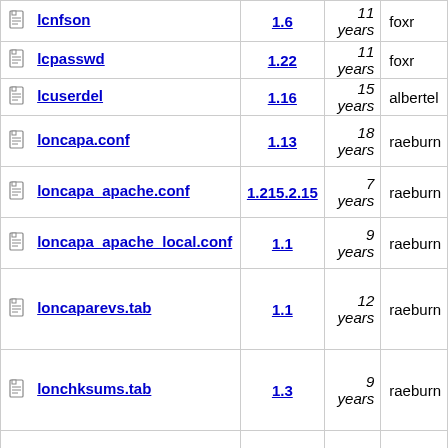| Name | Version | Age | Author |
| --- | --- | --- | --- |
| lcnfson | 1.6 | 11 years | foxr |
| lcpasswd | 1.22 | 11 years | foxr |
| lcuserdel | 1.16 | 15 years | albertel |
| loncapa.conf | 1.13 | 18 years | raeburn |
| loncapa_apache.conf | 1.215.2.15 | 7 years | raeburn |
| loncapa_apache_local.conf | 1.1 | 9 years | raeburn |
| loncaparevs.tab | 1.1 | 12 years | raeburn |
| lonchksums.tab | 1.3 | 9 years | raeburn |
| loncnew | 1.100 | 11 years | raeburn |